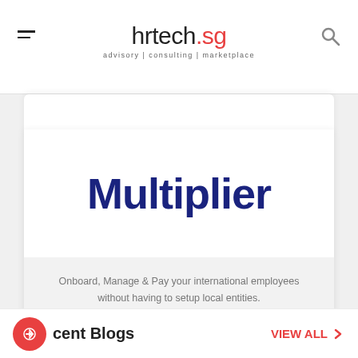hrtech.sg — advisory | consulting | marketplace
[Figure (logo): Multiplier company logo — large bold dark navy text 'Multiplier' centered on white background]
Onboard, Manage & Pay your international employees without having to setup local entities.
Recent Blogs
VIEW ALL